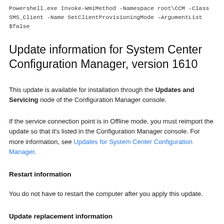Powershell.exe Invoke-WmiMethod -Namespace root\CCM -Class SMS_Client -Name SetClientProvisioningMode -ArgumentList $false
Update information for System Center Configuration Manager, version 1610
This update is available for installation through the Updates and Servicing node of the Configuration Manager console.
If the service connection point is in Offline mode, you must reimport the update so that it's listed in the Configuration Manager console. For more information, see Updates for System Center Configuration Manager.
Restart information
You do not have to restart the computer after you apply this update.
Update replacement information
This update does not replace any previously released update.